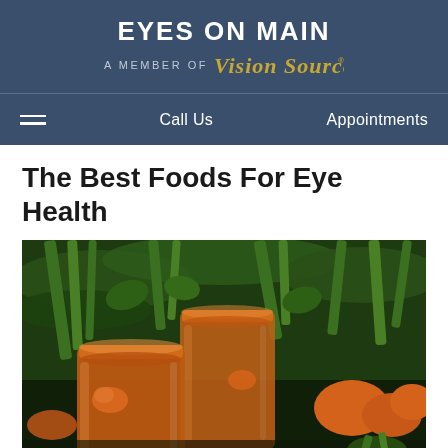EYES ON MAIN
A MEMBER OF Vision Source
Call Us    Appointments
The Best Foods For Eye Health
[Figure (photo): Photo of two glass jars filled with orange carrot juice, with fresh carrots and green vegetables in the background.]